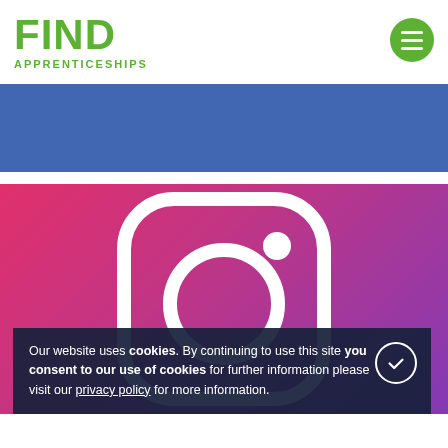FIND APPRENTICESHIPS
[Figure (screenshot): Blue Facebook banner strip]
[Figure (illustration): Instagram logo on magenta/purple gradient background with white rounded-square camera icon]
Our website uses cookies. By continuing to use this site you consent to our use of cookies for further information please visit our privacy policy for more information.